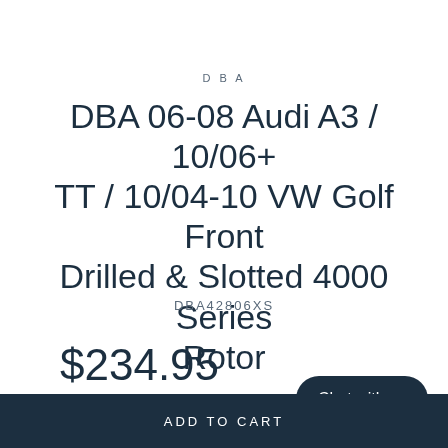D B A
DBA 06-08 Audi A3 / 10/06+ TT / 10/04-10 VW Golf Front Drilled & Slotted 4000 Series Rotor
DBA42806XS
$234.95
Chat with us
ADD TO CART